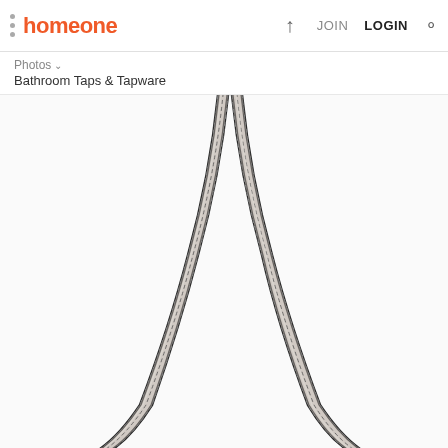homeone — JOIN LOGIN
Photos > Bathroom Taps & Tapware
[Figure (photo): Two metallic braided flexible shower hoses crossing and spreading apart, photographed on a white background. The hoses are stainless steel with a spiral ribbed texture, spreading in a V-shape from bottom to top.]